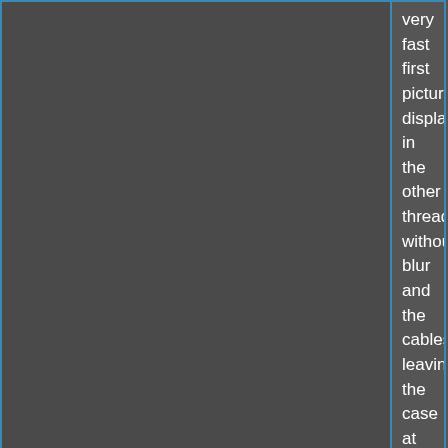very fast first picture displayed in the other thread without blur and the cables leaving the case at the rearside
to the pulgs outside.....
in meantime i´ll start making a drawing of the base shematic functions of the related parts interacting with each other and their function with additional explenations....
sincerely sopeedyG
Log in or register to post comments
November 1, 2014 - 11:50am
#11
z80eu
Re: Problems with an Apple II clone named "Pluto", no color